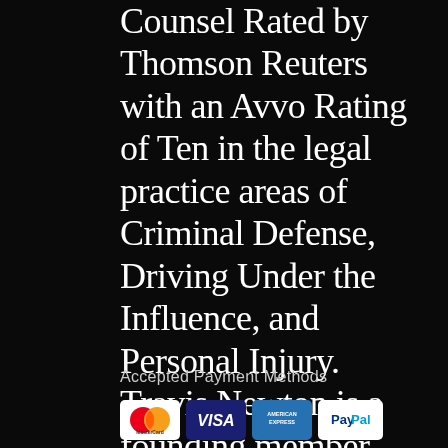Counsel Rated by Thomson Reuters with an Avvo Rating of Ten in the legal practice areas of Criminal Defense, Driving Under the Influence, and Personal Injury. Travis Newton is a founding member and State Ambassador for the American Association of Premier DUI Attorneys.
Accepted Payment Methods
[Figure (other): Payment method icons: MasterCard, VISA, American Express, PayPal]